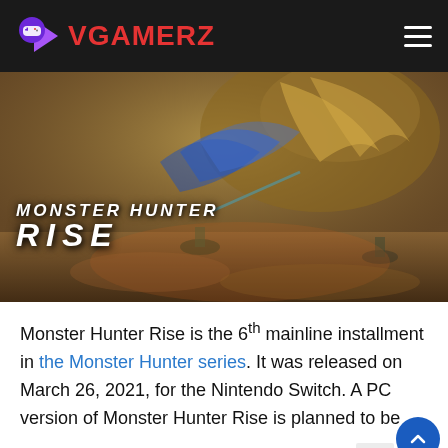VGAMERZ
[Figure (photo): Monster Hunter Rise game cover art showing monsters and hunters with the 'MONSTER HUNTER RISE' logo overlaid]
Monster Hunter Rise is the 6th mainline installment in the Monster Hunter series. It was released on March 26, 2021, for the Nintendo Switch. A PC version of Monster Hunter Rise is planned to be released from January 12, 2022.